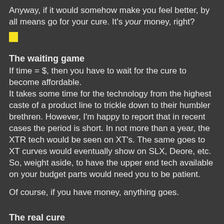Anyway, if it would somehow make you feel better, by all means go for your cure. It's your money, right?
[Figure (other): Small yellow highlighted rectangle/box]
The waiting game
If time = $, then you have to wait for the cure to become affordable.
It takes some time for the technology from the highest caste of a product line to trickle down to their humbler brethren. However, I'm happy to report that in recent cases the period is short. In not more than a year, the XTR tech would be seen on XT's. The same goes to XT curves would eventually show on SLX, Deore, etc. So, weight aside, to have the upper end tech available on your budget parts would need you to be patient.
Of course, if you have money, anything goes.
The real cure
It's not the bike, it's the rider.
The real defense against UGI is to develop yourself. Your strength, both physical and mental. While technology is